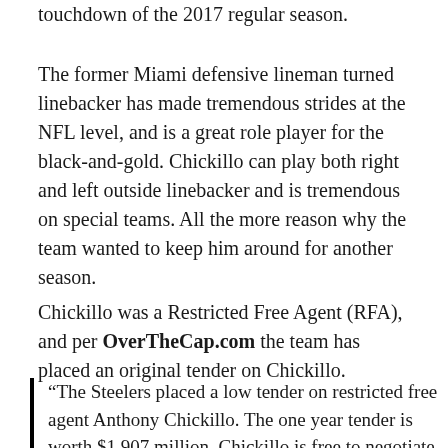touchdown of the 2017 regular season.
The former Miami defensive lineman turned linebacker has made tremendous strides at the NFL level, and is a great role player for the black-and-gold. Chickillo can play both right and left outside linebacker and is tremendous on special teams. All the more reason why the team wanted to keep him around for another season.
Chickillo was a Restricted Free Agent (RFA), and per OverTheCap.com the team has placed an original tender on Chickillo.
“The Steelers placed a low tender on restricted free agent Anthony Chickillo. The one year tender is worth $1.907 million. Chickillo is free to negotiate with other teams during free agency, but the Steelers